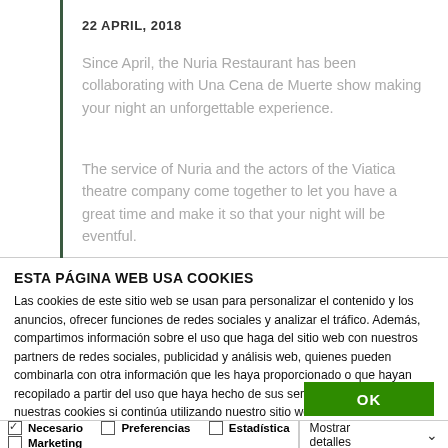22 APRIL, 2018
Since April, the Nuria Restaurant has been collaborating with Una Cena de Muerte show making your night an unforgettable experience.
The service of Nuria and the actors of the Viatica theatre company come together to let you have a great time and make it so that your night will be eventful.
ESTA PÁGINA WEB USA COOKIES
Las cookies de este sitio web se usan para personalizar el contenido y los anuncios, ofrecer funciones de redes sociales y analizar el tráfico. Además, compartimos información sobre el uso que haga del sitio web con nuestros partners de redes sociales, publicidad y análisis web, quienes pueden combinarla con otra información que les haya proporcionado o que hayan recopilado a partir del uso que haya hecho de sus servicios. Usted acepta nuestras cookies si continúa utilizando nuestro sitio web.
OK
✓ Necesario  ☐ Preferencias  ☐ Estadística  ☐ Marketing  Mostrar detalles